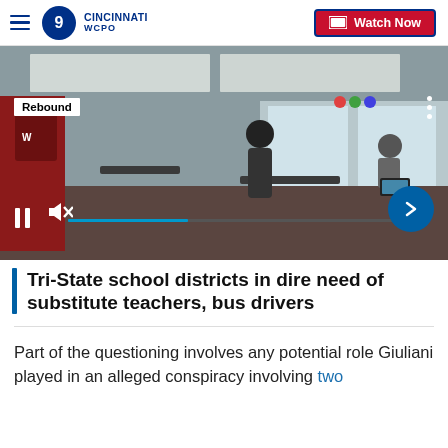WCPO 9 Cincinnati — Watch Now
[Figure (screenshot): Classroom scene with students and a masked teacher at desks, video player overlay with Rebound label, pause and mute controls, and next arrow button]
Tri-State school districts in dire need of substitute teachers, bus drivers
Part of the questioning involves any potential role Giuliani played in an alleged conspiracy involving two